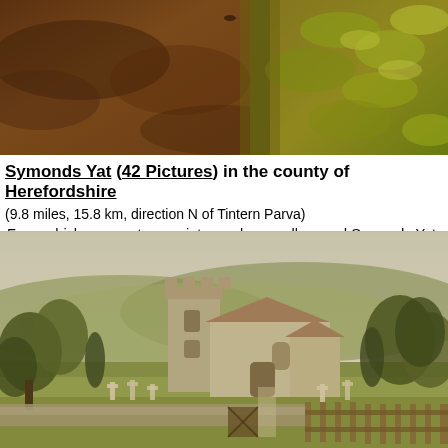[Figure (photo): Top portion of a landscape/nature photo showing brown soil/earth on the left and green-yellow leafy plants on the right, with a warm brown/golden tone.]
Symonds Yat (42 Pictures) in the county of Herefordshire
(9.8 miles, 15.8 km, direction N of Tintern Parva)
From whichever vantage point you choose all around Symonds Yat are scenes of incredible beauty...
[Figure (photo): A vintage colorized photograph of a stone church with a square tower and attached nave, surrounded by a graveyard with white crosses and headstones. A low stone wall with a wooden gate runs along the foreground. Rolling green hills are visible in the background. The image has a sepia/pastel tone typical of early 20th century photochroms.]